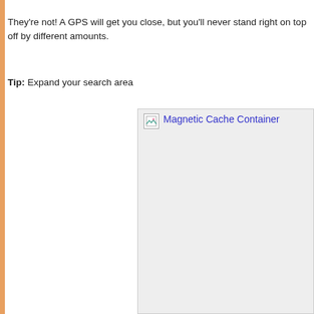They're not! A GPS will get you close, but you'll never stand right on top off by different amounts.
Tip: Expand your search area
[Figure (screenshot): A broken image placeholder icon followed by a blue hyperlink reading 'Magnetic Cache Container' on a light gray background, representing a linked image that failed to load.]